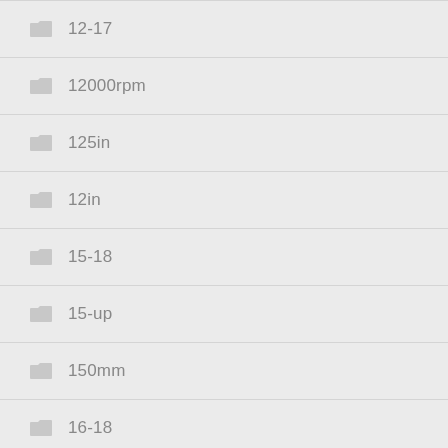12-17
12000rpm
125in
12in
15-18
15-up
150mm
16-18
1din
2-lens